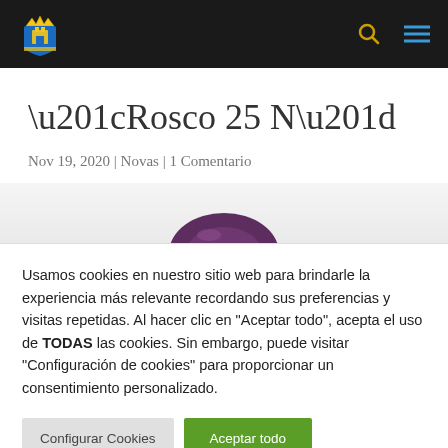Government municipal website header with coat of arms logo, search icon, and menu icon
“Rosco 25 N”
Nov 19, 2020 | Novas | 1 Comentario
[Figure (photo): Partial image of a purple/maroon circular bread (rosco) visible at the bottom of the content area]
Usamos cookies en nuestro sitio web para brindarle la experiencia más relevante recordando sus preferencias y visitas repetidas. Al hacer clic en "Aceptar todo", acepta el uso de TODAS las cookies. Sin embargo, puede visitar "Configuración de cookies" para proporcionar un consentimiento personalizado.
Configurar Cookies | Aceptar todo